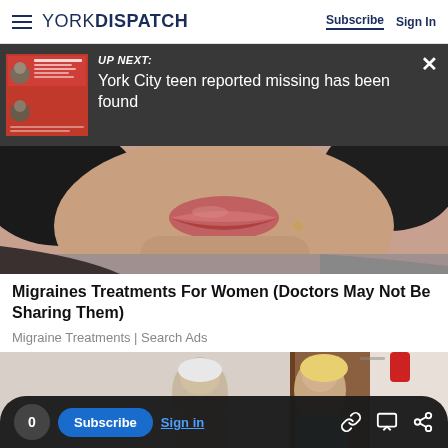YORK DISPATCH | Subscribe | Sign In
[Figure (screenshot): Up Next overlay showing a missing person flyer thumbnail and text 'York City teen reported missing has been found']
[Figure (photo): Close-up photo of a woman's face showing lips and lower face]
Migraines Treatments For Women (Doctors May Not Be Sharing Them)
Migraine Treatments | Search Ads
[Figure (photo): Photo of two women, one elderly and one blonde, near a doorway]
0 Subscribe Sign in